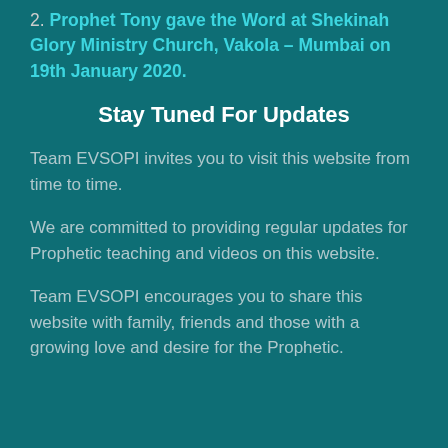2. Prophet Tony gave the Word at Shekinah Glory Ministry Church, Vakola – Mumbai on 19th January 2020.
Stay Tuned For Updates
Team EVSOPI invites you to visit this website from time to time.
We are committed to providing regular updates for Prophetic teaching and videos on this website.
Team EVSOPI encourages you to share this website with family, friends and those with a growing love and desire for the Prophetic.